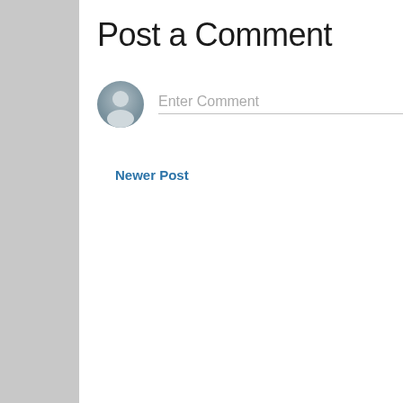Post a Comment
[Figure (illustration): User avatar icon - grey circle with silhouette of a person]
Enter Comment
Newer Post
TOP OF PAGE
ABOUT
© 2021 Wailing Engine Blog. All rights reserved.